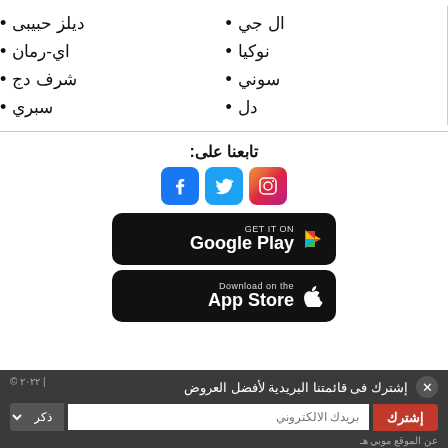ال جي
دیلز حبیبی
نوكيا
اي-رمان
سوني
شرف دج
دل
سبري
تابعنا على:
[Figure (logo): Instagram, Twitter, Facebook social media icons]
[Figure (logo): Google Play download button]
[Figure (logo): App Store download button]
إشترك فى قائمتنا البريدية لأفضل العروض
© ٢٠٢٢ | عن الموقع موبي هـ
ذكر | بريدك الالكتروني | إشترك